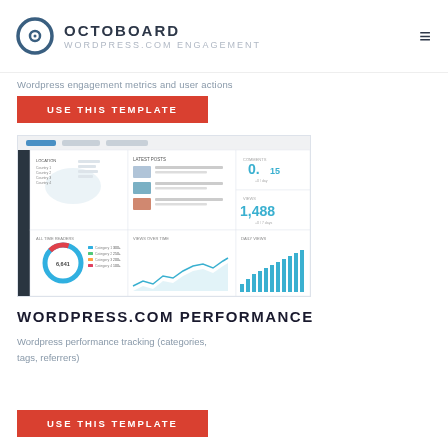OCTOBOARD / WORDPRESS.COM ENGAGEMENT
Wordpress engagement metrics and user actions
USE THIS TEMPLATE
[Figure (screenshot): Screenshot of Octoboard WordPress.com Engagement dashboard showing map, blog posts list, donut chart with 6,641, stats showing 0.15 and 1,488, and bar/line charts]
WORDPRESS.COM PERFORMANCE
Wordpress performance tracking (categories, tags, referrers)
USE THIS TEMPLATE